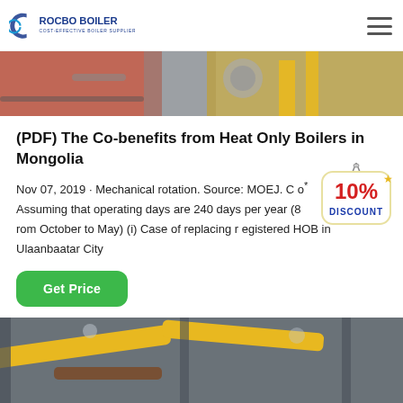ROCBO BOILER - COST-EFFECTIVE BOILER SUPPLIER
[Figure (photo): Industrial boiler equipment photo showing red and yellow machinery with pipes and cables]
(PDF) The Co-benefits from Heat Only Boilers in Mongolia
Nov 07, 2019 · Mechanical rotation. Source: MOEJ. C o* Assuming that operating days are 240 days per year (8 rom October to May) (i) Case of replacing registered HOB in Ulaanbaatar City
[Figure (illustration): 10% DISCOUNT badge/sticker in red and blue text on a hanging tag shape]
[Figure (photo): Industrial boiler interior showing yellow pipes and structural beams on ceiling]